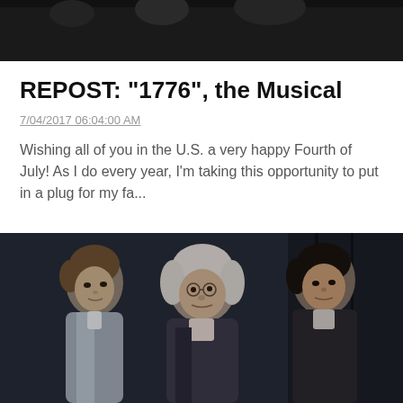[Figure (photo): Dark/black top strip, partial screenshot of a blog or website header image]
REPOST: "1776", the Musical
7/04/2017 06:04:00 AM
Wishing all of you in the U.S. a very happy Fourth of July! As I do every year, I'm taking this opportunity to put in a plug for my fa...
[Figure (photo): Film still from the 1776 musical showing three men in colonial-era costumes on a dark stage set]